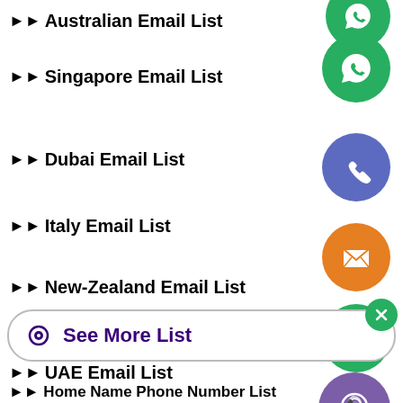Australian Email List
Singapore Email List
Dubai Email List
Italy Email List
New-Zealand Email List
Switzerland Email List
UAE Email List
Bangladesh Email List
Dominican Republic Email List
[Figure (infographic): A vertical column of social/contact app icons: WhatsApp (green), Phone (blue/purple), Email (orange), LINE (green), Viber (purple), and a close/X button (green)]
See More List
Home Name Phone Number List